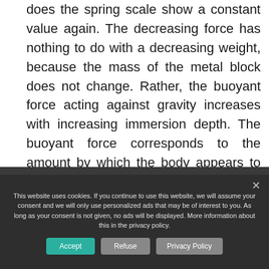does the spring scale show a constant value again. The decreasing force has nothing to do with a decreasing weight, because the mass of the metal block does not change. Rather, the buoyant force acting against gravity increases with increasing immersion depth. The buoyant force corresponds to the amount by which the body appears to have become lighter in water.
This website uses cookies. If you continue to use this website, we will assume your consent and we will only use personalized ads that may be of interest to you. As long as your consent is not given, no ads will be displayed. More information about this in the privacy policy.